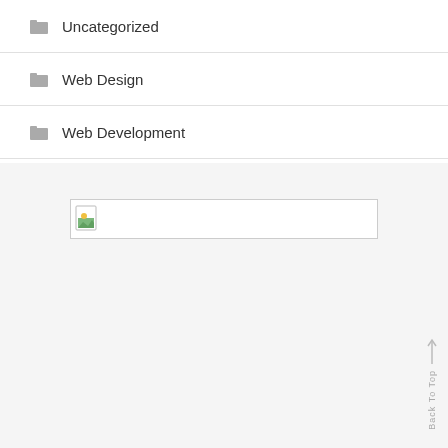Uncategorized
Web Design
Web Development
[Figure (screenshot): A small image placeholder icon with a broken/preview image thumbnail inside a rectangular input or image box with a gray border]
Back To Top